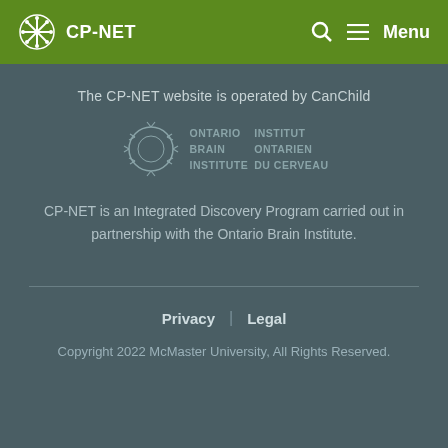CP-NET  Menu
The CP-NET website is operated by CanChild
[Figure (logo): Ontario Brain Institute / Institut Ontarien Du Cerveau logo with circular thorn/branch design]
CP-NET is an Integrated Discovery Program carried out in partnership with the Ontario Brain Institute.
Privacy  |  Legal
Copyright 2022 McMaster University, All Rights Reserved.